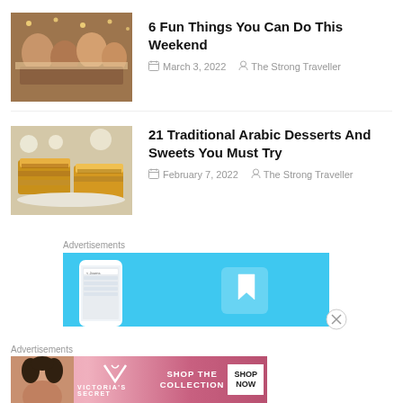[Figure (photo): Group of people dining together at a festive table with warm lighting]
6 Fun Things You Can Do This Weekend
March 3, 2022   The Strong Traveller
[Figure (photo): Baklava dessert pieces on a plate with flowers in background]
21 Traditional Arabic Desserts And Sweets You Must Try
February 7, 2022   The Strong Traveller
Advertisements
[Figure (screenshot): Blue advertisement banner showing a mobile phone app interface with a bookmark icon]
Advertisements
[Figure (other): Victoria's Secret advertisement: SHOP THE COLLECTION - SHOP NOW]